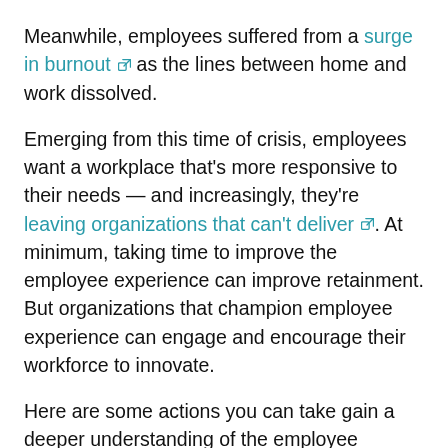Meanwhile, employees suffered from a surge in burnout [external link] as the lines between home and work dissolved.
Emerging from this time of crisis, employees want a workplace that's more responsive to their needs — and increasingly, they're leaving organizations that can't deliver [external link]. At minimum, taking time to improve the employee experience can improve retainment. But organizations that champion employee experience can engage and encourage their workforce to innovate.
Here are some actions you can take gain a deeper understanding of the employee experience at your organization:
[Figure (other): Teal rounded button labeled 'Go to form']
what's working, and what's not. From one-on-